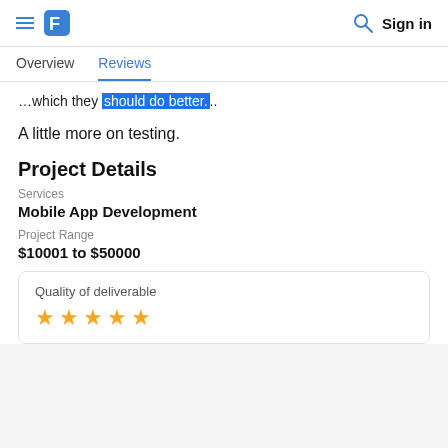Overview | Reviews | Sign in
…which they should do better.
A little more on testing.
Project Details
Services
Mobile App Development
Project Range
$10001 to $50000
Quality of deliverable
[Figure (other): Five gold star rating icons]